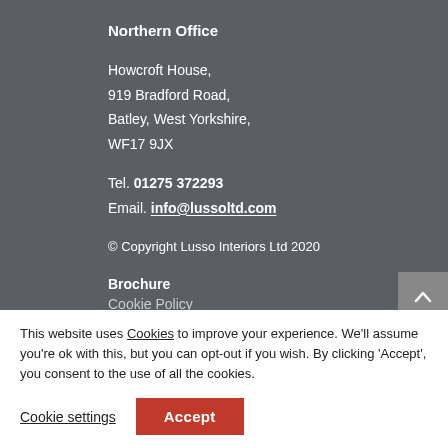Northern Office
Howcroft House,
919 Bradford Road,
Batley, West Yorkshire,
WF17 9JX
Tel. 01275 372293
Email. info@lussoltd.com
© Copyright Lusso Interiors Ltd 2020
Brochure
Cookie Policy
This website uses Cookies to improve your experience. We'll assume you're ok with this, but you can opt-out if you wish. By clicking 'Accept', you consent to the use of all the cookies.
Cookie settings
Accept